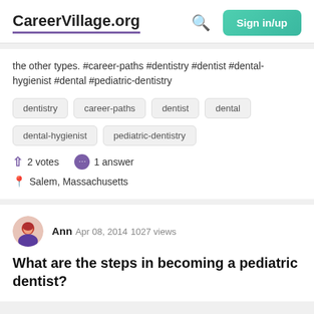CareerVillage.org  Sign in/up
the other types. #career-paths #dentistry #dentist #dental-hygienist #dental #pediatric-dentistry
dentistry
career-paths
dentist
dental
dental-hygienist
pediatric-dentistry
2 votes   1 answer
Salem, Massachusetts
Ann  Apr 08, 2014  1027 views
What are the steps in becoming a pediatric dentist?